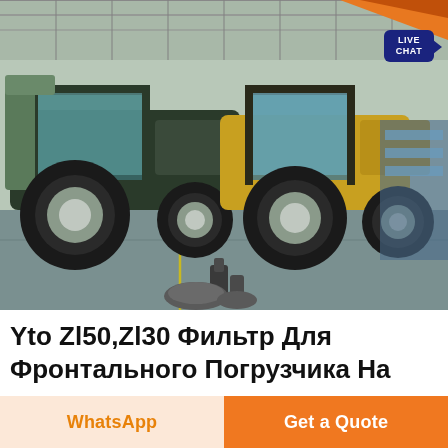[Figure (photo): Factory floor with two large yellow and green tractors (YTO ZL50/ZL30 front loader models) parked side by side in an industrial warehouse. Various mechanical parts visible in the foreground. A 'LIVE CHAT' badge is visible in the upper right corner of the image.]
Yto Zl50,Zl30 Фильтр Для Фронтального Погрузчика На
WhatsApp
Get a Quote